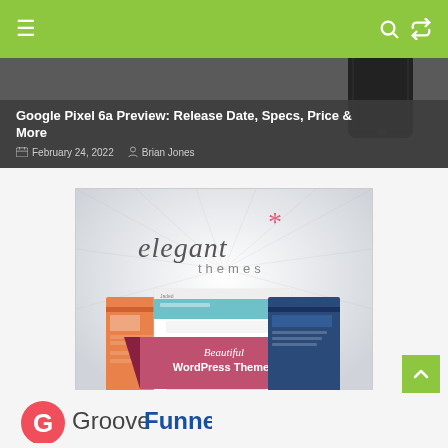Navigation bar with hamburger menu, search and shuffle icons
Google Pixel 6a Preview: Release Date, Specs, Price & More
February 24, 2022   Brian Jones
[Figure (screenshot): Elegant Themes advertisement banner showing logo with pink asterisk and 'elegant themes' text, with WordPress theme screenshots and 'Beautiful WordPress Themes' ribbon text on a light gray radial background]
[Figure (logo): GrooveFunnels logo with pink/coral G icon and 'GrooveFunnels' text in dark gray and blue]